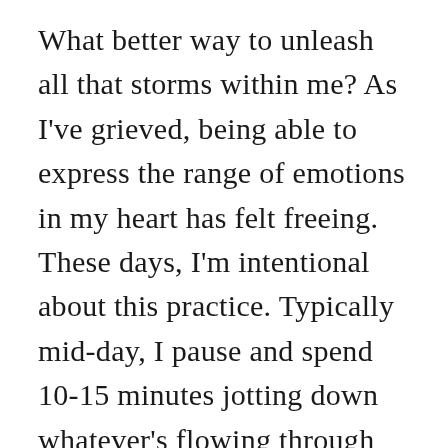What better way to unleash all that storms within me? As I've grieved, being able to express the range of emotions in my heart has felt freeing. These days, I'm intentional about this practice. Typically mid-day, I pause and spend 10-15 minutes jotting down whatever's flowing through my mind. My journals hold dried tear stains